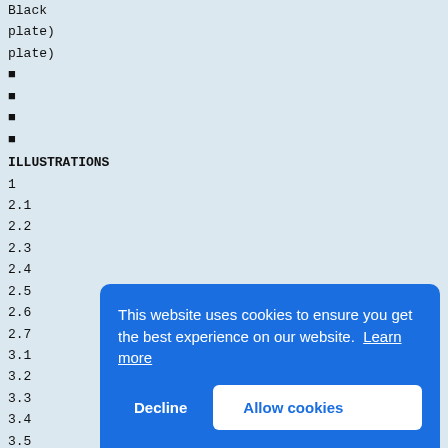Black
plate)
plate)
■
■
■
■
ILLUSTRATIONS
1
2.1
2.2
2.3
2.4
2.5
2.6
2.7
3.1
3.2
3.3
3.4
3.5
3.6
3.7
3.8
3.9
3.10
3.11
3.12
4.1
5.1
5.2
5.3
5.4
This website uses cookies to ensure you get the best experience on our website. Learn more
Decline
Allow cookies